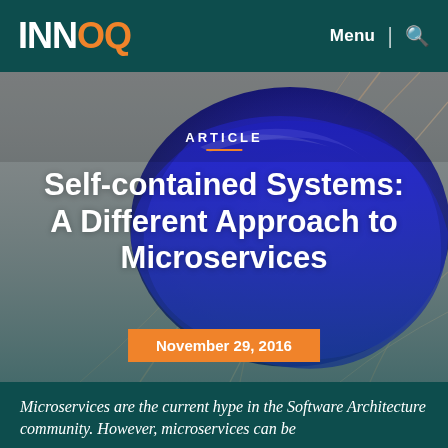INNOQ — Menu | Search
[Figure (illustration): Abstract 3D render with a large shiny blue organic blob shape against a gray background, with thin beige/copper curved lines overlaid.]
ARTICLE
Self-contained Systems: A Different Approach to Microservices
November 29, 2016
Microservices are the current hype in the Software Architecture community. However, microservices can be